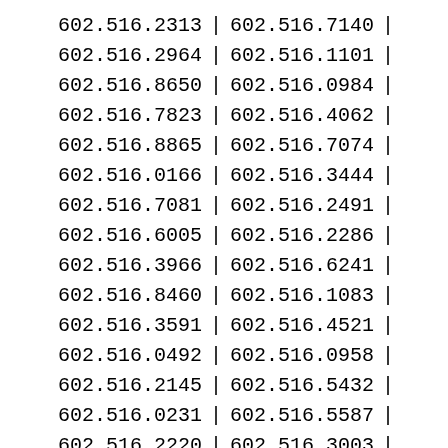| 602.516.2313 | | | 602.516.7140 | | |
| 602.516.2964 | | | 602.516.1101 | | |
| 602.516.8650 | | | 602.516.0984 | | |
| 602.516.7823 | | | 602.516.4062 | | |
| 602.516.8865 | | | 602.516.7074 | | |
| 602.516.0166 | | | 602.516.3444 | | |
| 602.516.7081 | | | 602.516.2491 | | |
| 602.516.6005 | | | 602.516.2286 | | |
| 602.516.3966 | | | 602.516.6241 | | |
| 602.516.8460 | | | 602.516.1083 | | |
| 602.516.3591 | | | 602.516.4521 | | |
| 602.516.0492 | | | 602.516.0958 | | |
| 602.516.2145 | | | 602.516.5432 | | |
| 602.516.0231 | | | 602.516.5587 | | |
| 602.516.2220 | | | 602.516.3003 | | |
| 602.516.3883 | | | 602.516.8189 | | |
| 602.516.4538 | | | 602.516.9589 | | |
| 602.516.5829 | | | 602.516.5622 | | |